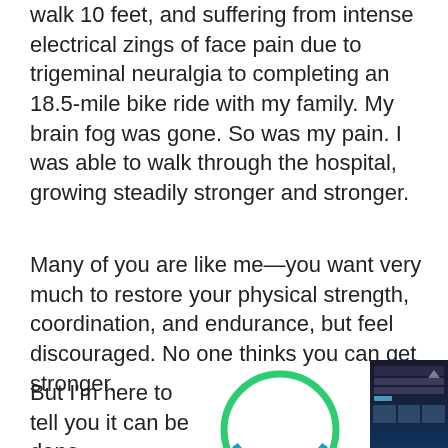walk 10 feet, and suffering from intense electrical zings of face pain due to trigeminal neuralgia to completing an 18.5-mile bike ride with my family. My brain fog was gone. So was my pain. I was able to walk through the hospital, growing steadily stronger and stronger.
Many of you are like me—you want very much to restore your physical strength, coordination, and endurance, but feel discouraged. No one thinks you can get stronger.
But I'm here to tell you it can be done.
[Figure (logo): E Stim & Movement Essentials e-Course logo: green and teal lightning bolt inside a circle]
[Figure (screenshot): Screenshot of a dark-themed website for E Stim & Movement course]